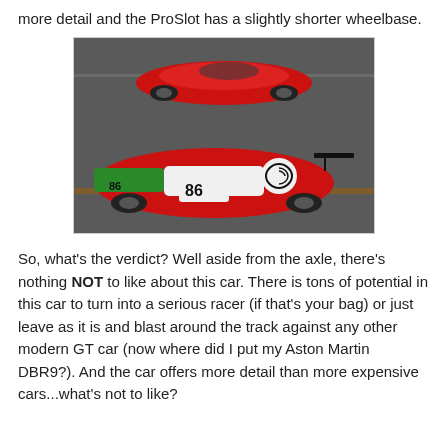more detail and the ProSlot has a slightly shorter wheelbase.
[Figure (photo): Two slot car models photographed together on a track surface. The top car is a plain red sports car (Ferrari). The bottom car is a red, white and green Ferrari GT race car with number 86 livery, Ferrari 4 branding, and various sponsor decals.]
So, what's the verdict? Well aside from the axle, there's nothing NOT to like about this car. There is tons of potential in this car to turn into a serious racer (if that's your bag) or just leave as it is and blast around the track against any other modern GT car (now where did I put my Aston Martin DBR9?). And the car offers more detail than more expensive cars...what's not to like?